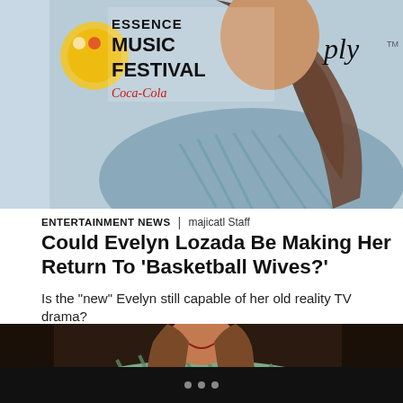[Figure (photo): Top portion of a woman at Essence Music Festival event, with logo visible in upper left showing Essence Music Festival and Coca-Cola branding. Partial view of a yellow and orange circular logo. The woman is wearing a blue and white patterned outfit with long brown hair.]
ENTERTAINMENT NEWS | majicatl Staff
Could Evelyn Lozada Be Making Her Return To 'Basketball Wives?'
Is the "new" Evelyn still capable of her old reality TV drama?
[Figure (photo): A woman (Evelyn Lozada) sitting and smiling at camera, wearing a blue and green striped/palm leaf patterned dress, with large hoop earrings and long brown wavy hair. Dark background.]
• • •